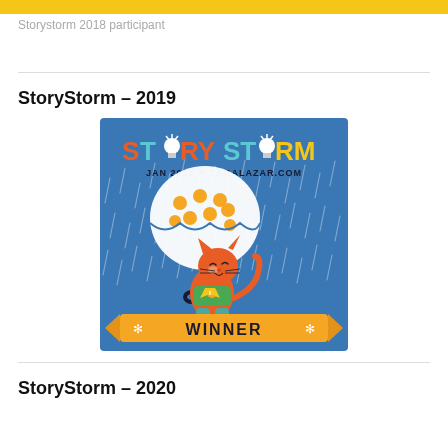Storystorm 2018 participant
StoryStorm – 2019
[Figure (illustration): StoryStorm Jan 2019 taralazar.com winner badge featuring a cartoon orange cat holding a polka-dot umbrella in the rain, with a banner reading WINNER]
StoryStorm – 2020